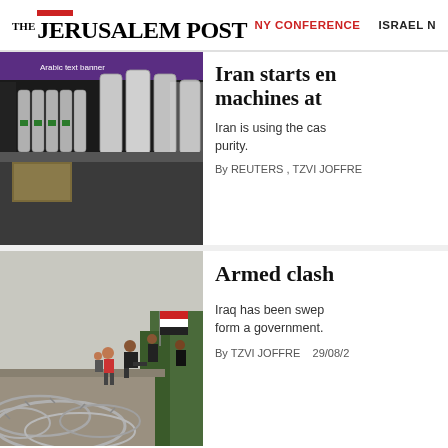THE JERUSALEM POST | NY CONFERENCE | ISRAEL N
[Figure (photo): Photo of centrifuge machines displayed on a truck at a nuclear exhibition in Iran]
Iran starts en machines at
Iran is using the cas purity.
By REUTERS , TZVI JOFFRE
[Figure (photo): Photo of protesters climbing a wall with barbed wire, one holding an Iraqi flag]
Armed clash
Iraq has been swep form a government.
By TZVI JOFFRE   29/08/2